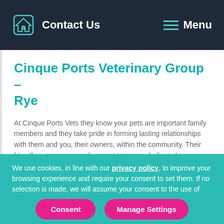Contact Us  Menu
Cinque Ports Veterinary Group – Rye
At Cinque Ports Vets they know your pets are important family members and they take pride in forming lasting relationships with them and you, their owners, within the community. Their friendly vets, nurses and support team are dedicated to
We use cookies, in line with our privacy policy, to improve your browsing experience and require your consent to set them. If no selection is made, we will assume your consent to the use of cookies.
Consent | Manage Settings